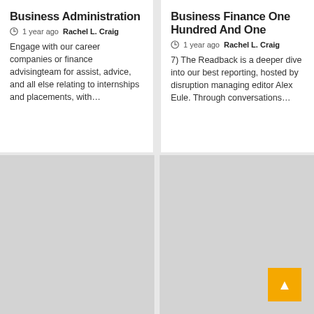Business Administration
1 year ago  Rachel L. Craig
Engage with our career companies or finance advisingteam for assist, advice, and all else relating to internships and placements, with…
Business Finance One Hundred And One
1 year ago  Rachel L. Craig
7) The Readback is a deeper dive into our best reporting, hosted by disruption managing editor Alex Eule. Through conversations…
[Figure (other): Gray placeholder image block (bottom left)]
[Figure (other): Gray placeholder image block with orange scroll-to-top button (bottom right)]